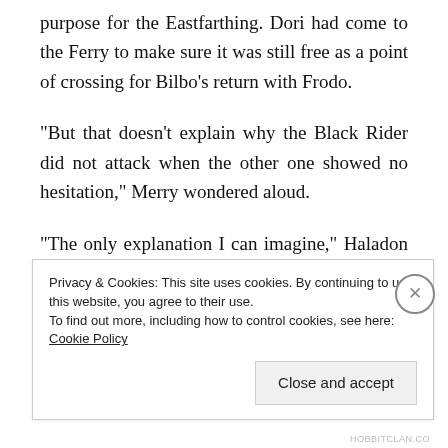purpose for the Eastfarthing. Dori had come to the Ferry to make sure it was still free as a point of crossing for Bilbo’s return with Frodo.
“But that doesn’t explain why the Black Rider did not attack when the other one showed no hesitation,” Merry wondered aloud.
“The only explanation I can imagine,” Haladon mused, “is that the one who attacked us is the Rider we encountered in Crickhollow and on the road to the
Privacy & Cookies: This site uses cookies. By continuing to use this website, you agree to their use.
To find out more, including how to control cookies, see here: Cookie Policy
Close and accept
HOBBITCLAN.CO